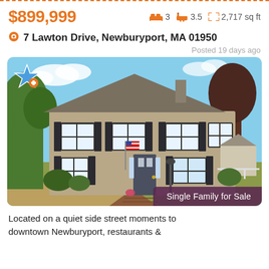$899,999
3 beds  3.5 baths  2,717 sq ft
7 Lawton Drive, Newburyport, MA 01950
Posted 19 days ago
[Figure (photo): Two-story colonial style single family home with tan/khaki siding, black shutters, front door with American flag, brick walkway, trees and landscaping]
Single Family for Sale
Located on a quiet side street moments to downtown Newburyport, restaurants &